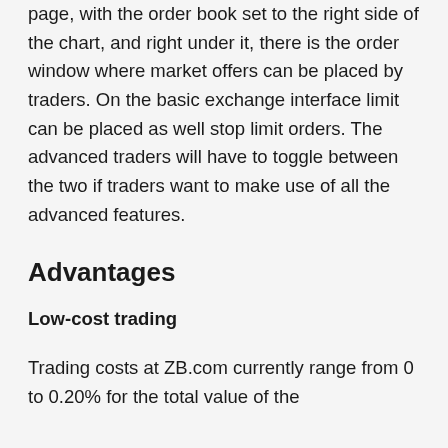page, with the order book set to the right side of the chart, and right under it, there is the order window where market offers can be placed by traders. On the basic exchange interface limit can be placed as well stop limit orders. The advanced traders will have to toggle between the two if traders want to make use of all the advanced features.
Advantages
Low-cost trading
Trading costs at ZB.com currently range from 0 to 0.20% for the total value of the